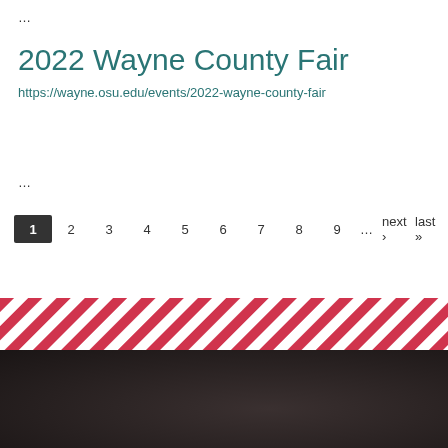…
2022 Wayne County Fair
https://wayne.osu.edu/events/2022-wayne-county-fair
…
1 2 3 4 5 6 7 8 9 … next › last »
[Figure (other): Diagonal red and white stripe decorative band]
The Ohio State University
© 2022, The Ohio State University
School of Environment and Natural R...